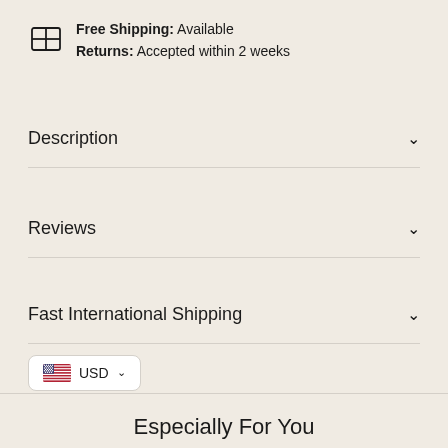Free Shipping: Available
Returns: Accepted within 2 weeks
Description
Reviews
Fast International Shipping
USD (currency selector with US flag)
ts
Especially For You